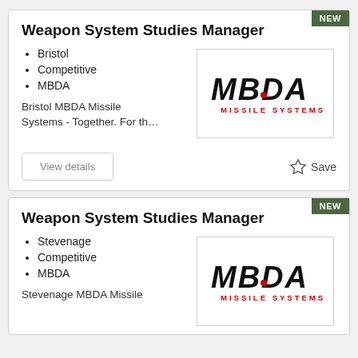Weapon System Studies Manager
Bristol
Competitive
MBDA
[Figure (logo): MBDA Missile Systems logo]
Bristol MBDA Missile Systems - Together. For th…
View details
Save
Weapon System Studies Manager
Stevenage
Competitive
MBDA
[Figure (logo): MBDA Missile Systems logo]
Stevenage MBDA Missile